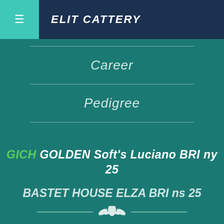ELIT CATTERY
Career
Pedigree
GICH GOLDEN Soft's Luciano BRI ny 25
BASTET HOUSE ELZA BRI ns 25
MILKA ELITE BELL*UA
BRI ny 11